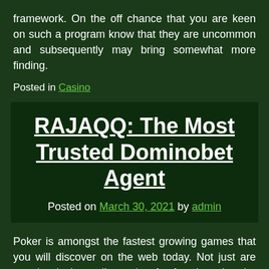framework. On the off chance that you are keen on such a program know that they are uncommon and subsequently may bring somewhat more finding.
Posted in Casino
RAJAQQ: The Most Trusted Dominobet Agent
Posted on March 30, 2021 by admin
Poker is amongst the fastest growing games that you will discover on the web today. Not just are people playing online poker for fun, but also the majority are enjoying it due to the cash that they may succeed by taking part in. Some individuals have started playing online poker and make